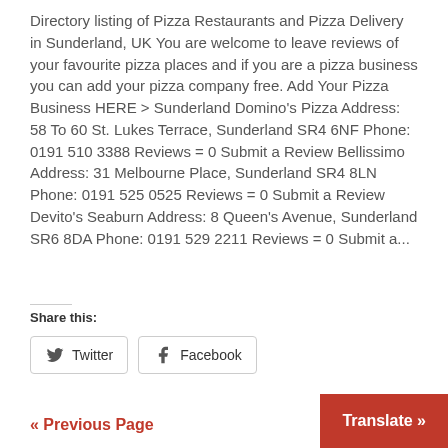Directory listing of Pizza Restaurants and Pizza Delivery in Sunderland, UK You are welcome to leave reviews of your favourite pizza places and if you are a pizza business you can add your pizza company free. Add Your Pizza Business HERE > Sunderland Domino's Pizza Address: 58 To 60 St. Lukes Terrace, Sunderland SR4 6NF Phone: 0191 510 3388 Reviews = 0 Submit a Review Bellissimo Address: 31 Melbourne Place, Sunderland SR4 8LN Phone: 0191 525 0525 Reviews = 0 Submit a Review Devito's Seaburn Address: 8 Queen's Avenue, Sunderland SR6 8DA Phone: 0191 529 2211 Reviews = 0 Submit a...
Share this:
Twitter  Facebook
« Previous Page
Translate »